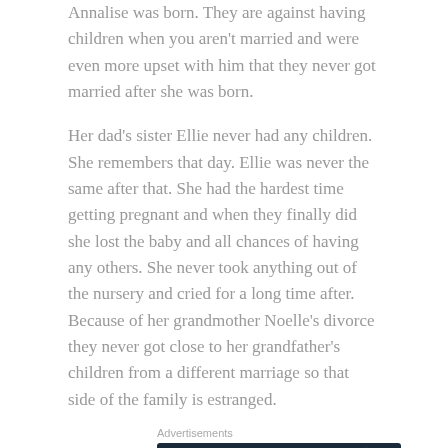Annalise was born. They are against having children when you aren't married and were even more upset with him that they never got married after she was born.
Her dad's sister Ellie never had any children. She remembers that day. Ellie was never the same after that. She had the hardest time getting pregnant and when they finally did she lost the baby and all chances of having any others. She never took anything out of the nursery and cried for a long time after. Because of her grandmother Noelle's divorce they never got close to her grandfather's children from a different marriage so that side of the family is estranged.
Advertisements
[Figure (infographic): Advertisement banner for WordPress: 'Create surveys, polls, quizzes, and forms.' with WordPress logo and a circular crown logo on dark navy background]
REPORT THIS AD
Never thought we had isolated ourselves so bad until now. We